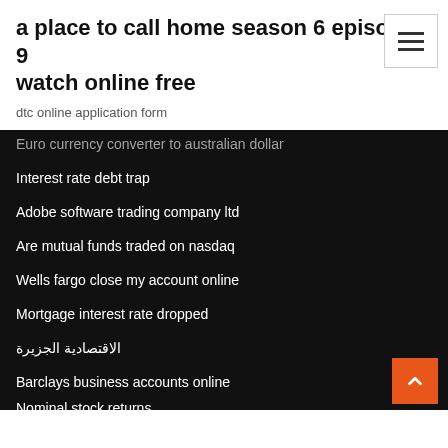a place to call home season 6 episode 9 watch online free
dtc online application form
Euro currency converter to australian dollar
Interest rate debt trap
Adobe software trading company ltd
Are mutual funds traded on nasdaq
Wells fargo close my account online
Mortgage interest rate dropped
الاقتصادية الجزيرة
Barclays business accounts online
Nominal stock returns